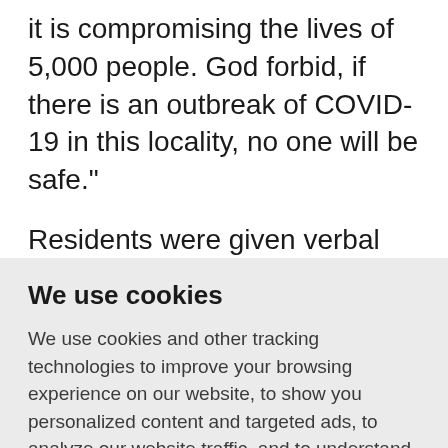it is compromising the lives of 5,000 people. God forbid, if there is an outbreak of COVID-19 in this locality, no one will be safe."
Residents were given verbal notice of the demolition on Saturday, said Mumbi. Rights groups secured a court injunction stopping the demolition the following
We use cookies
We use cookies and other tracking technologies to improve your browsing experience on our website, to show you personalized content and targeted ads, to analyze our website traffic, and to understand where our visitors are coming from.